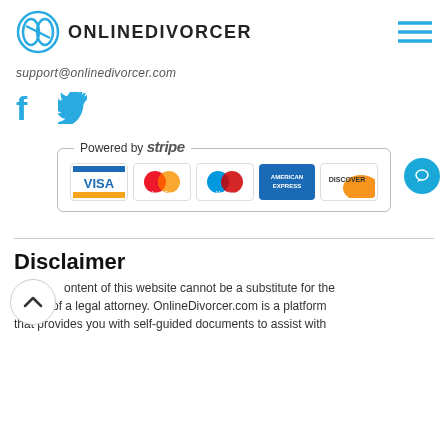ONLINEDIVORCER
support@onlinedivorcer.com
[Figure (illustration): Social media icons: Facebook and Twitter]
[Figure (infographic): Powered by stripe payment logos: VISA, MasterCard, Maestro, American Express, Discover]
Disclaimer
ontent of this website cannot be a substitute for the advice of a legal attorney. OnlineDivorcer.com is a platform that...